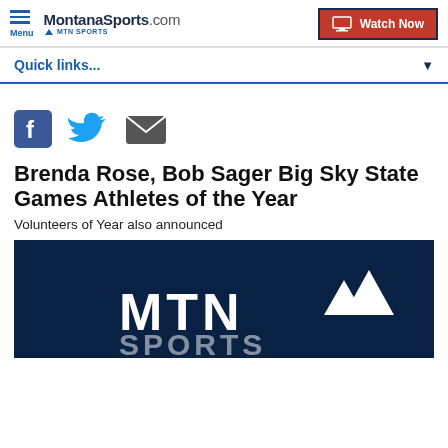Menu | MontanaSports.com powered by MTN Sports | Watch Now
Quick links...
[Figure (other): Social sharing icons: Facebook, Twitter, Email]
Brenda Rose, Bob Sager Big Sky State Games Athletes of the Year
Volunteers of Year also announced
[Figure (photo): MTN Sports logo on dark blue background]